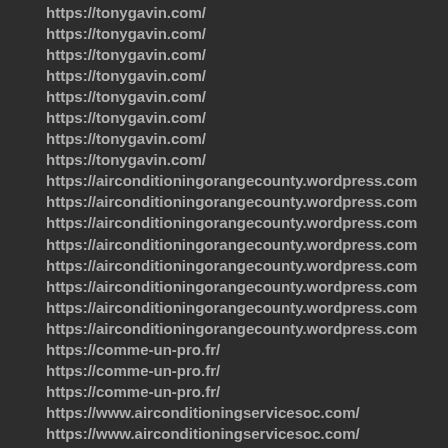https://tonygavin.com/
https://tonygavin.com/
https://tonygavin.com/
https://tonygavin.com/
https://tonygavin.com/
https://tonygavin.com/
https://tonygavin.com/
https://tonygavin.com/
https://airconditioningorangecounty.wordpress.com
https://airconditioningorangecounty.wordpress.com
https://airconditioningorangecounty.wordpress.com
https://airconditioningorangecounty.wordpress.com
https://airconditioningorangecounty.wordpress.com
https://airconditioningorangecounty.wordpress.com
https://airconditioningorangecounty.wordpress.com
https://airconditioningorangecounty.wordpress.com
https://comme-un-pro.fr/
https://comme-un-pro.fr/
https://comme-un-pro.fr/
https://www.airconditioningservicesoc.com/
https://www.airconditioningservicesoc.com/
https://www.airconditioningservicesoc.com/